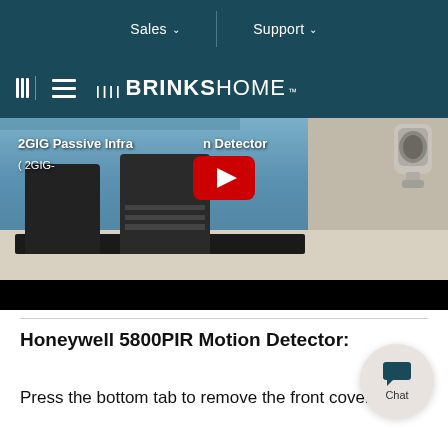Sales ∨   |   Support ∨
BRINKS HOME™
[Figure (screenshot): YouTube video thumbnail showing '2GIG Passive Infra[red] [Motion] Detector (2GIG-...)' with a play button overlay, displaying a dining room scene with chairs and table, and a PIR motion sensor device in the upper right corner.]
Honeywell 5800PIR Motion Detector:
Press the bottom tab to remove the front cover